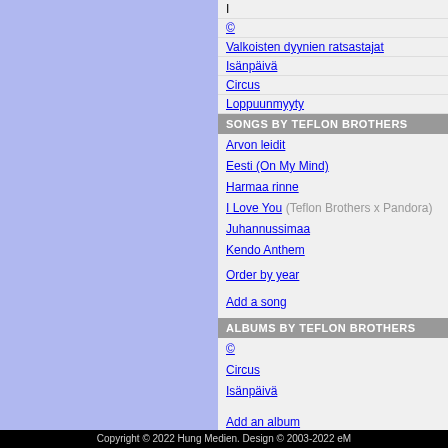I
©
Valkoisten dyynien ratsastajat
Isänpäivä
Circus
Loppuunmyyty
SONGS BY TEFLON BROTHERS
Arvon leidit
Eesti (On My Mind)
Harmaa rinne
I Love You (Teflon Brothers x Pandora)
Juhannussimaa
Kendo Anthem
Order by year
Add a song
ALBUMS BY TEFLON BROTHERS
©
Circus
Isänpäivä
Add an album
REVIEWS
No reviews yet.
Add a review
Copyright © 2022 Hung Medien. Design © 2003-2022 eM